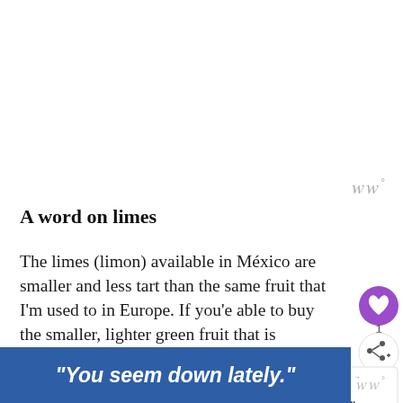ωω°
A word on limes
The limes (limon) available in México are smaller and less tart than the same fruit that I'm used to in Europe. If you'e able to buy the smaller, lighter green fruit that is commonly used for cocktails like mojitos a caipirinhas (my recipe from Brazil is here), then do. Otherwise, if you're using darker green lime, I'd recommend juice of only 1/4 of the lime.
[Figure (other): Blue advertisement banner with italic white text reading: "You seem down lately."]
ωω°